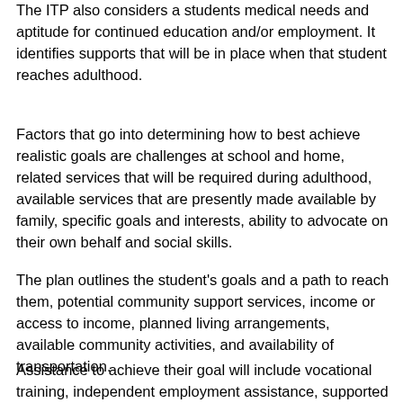The ITP also considers a students medical needs and aptitude for continued education and/or employment. It identifies supports that will be in place when that student reaches adulthood.
Factors that go into determining how to best achieve realistic goals are challenges at school and home, related services that will be required during adulthood, available services that are presently made available by family, specific goals and interests, ability to advocate on their own behalf and social skills.
The plan outlines the student's goals and a path to reach them, potential community support services, income or access to income, planned living arrangements, available community activities, and availability of transportation.
Assistance to achieve their goal will include vocational training, independent employment assistance, supported